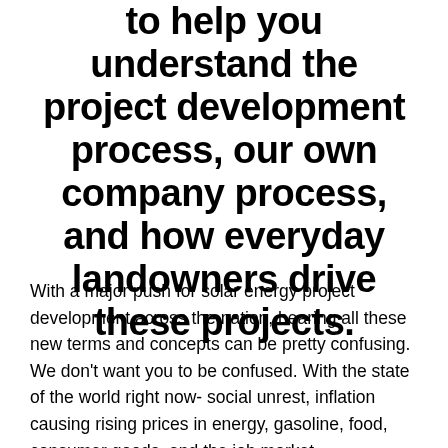to help you understand the project development process, our own company process, and how everyday landowners drive these projects.
With a major push for solar energy project development across the nation, hearing all these new terms and concepts can be pretty confusing. We don't want you to be confused. With the state of the world right now- social unrest, inflation causing rising prices in energy, gasoline, food, consumer goods, and the job market restructuring- we want you to feel that leasing your land to a solar energy company was an easy option to make. And, with ClearPath Energy,